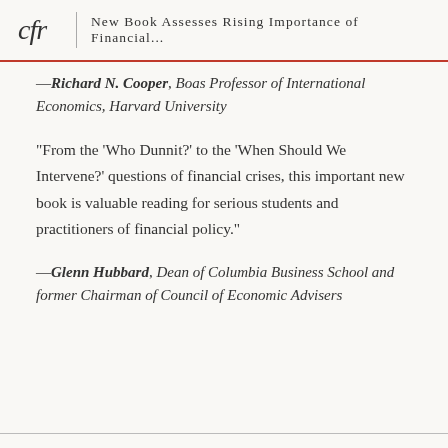cfr  |  New Book Assesses Rising Importance of Financial...
—Richard N. Cooper, Boas Professor of International Economics, Harvard University
“From the ‘Who Dunnit?’ to the ‘When Should We Intervene?’ questions of financial crises, this important new book is valuable reading for serious students and practitioners of financial policy.”
—Glenn Hubbard, Dean of Columbia Business School and former Chairman of Council of Economic Advisers